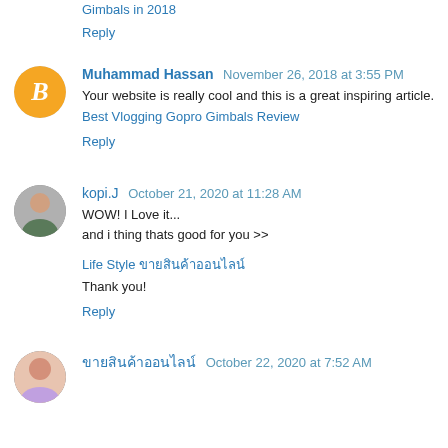Gimbals in 2018
Reply
Muhammad Hassan  November 26, 2018 at 3:55 PM
Your website is really cool and this is a great inspiring article. Best Vlogging Gopro Gimbals Review
Reply
kopi.J  October 21, 2020 at 11:28 AM
WOW! I Love it...
and i thing thats good for you >>
Life Style ขายสินค้าออนไลน์
Thank you!
Reply
ขายสินค้าออนไลน์  October 22, 2020 at 7:52 AM